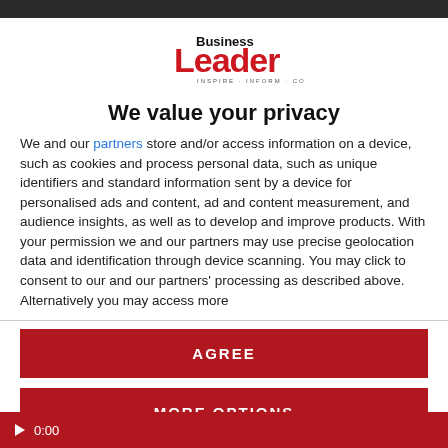[Figure (logo): Business Leader logo — red and black stylized text with tagline INSPIRE · INFORM · CONNECT]
We value your privacy
We and our partners store and/or access information on a device, such as cookies and process personal data, such as unique identifiers and standard information sent by a device for personalised ads and content, ad and content measurement, and audience insights, as well as to develop and improve products. With your permission we and our partners may use precise geolocation data and identification through device scanning. You may click to consent to our and our partners' processing as described above. Alternatively you may access more
AGREE
MORE OPTIONS